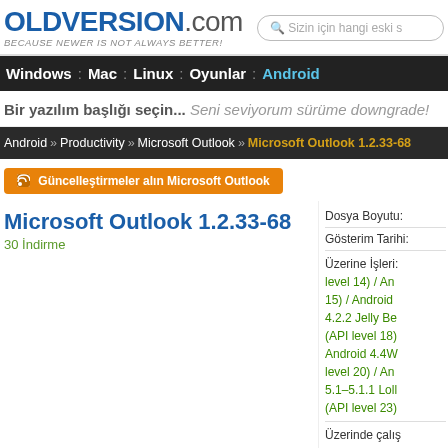OLDVERSION.com — BECAUSE NEWER IS NOT ALWAYS BETTER! | Search: Sizin için hangi eski s
Windows : Mac : Linux : Oyunlar : Android
Bir yazılım başlığı seçin... Seni seviyorum sürüme downgrade!
Android » Productivity » Microsoft Outlook » Microsoft Outlook 1.2.33-68
Güncelleştirmeler alın Microsoft Outlook
Microsoft Outlook 1.2.33-68
30 İndirme
Dosya Boyutu:
Gösterim Tarihi:
Üzerine İşleri: level 14) / An 15) / Android 4.2.2 Jelly Be (API level 18) Android 4.4W level 20) / An 5.1–5.1.1 Loll (API level 23)
Üzerinde çalış 1.1 (API level